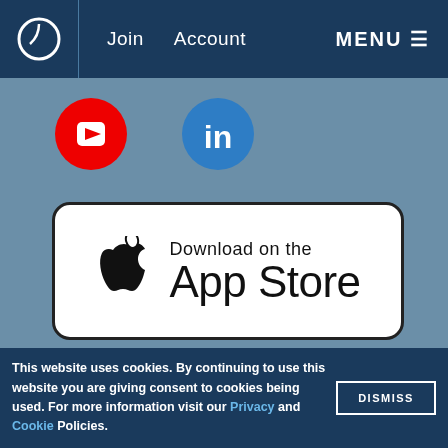Join  Account  MENU
[Figure (logo): YouTube icon - red circle with white play button triangle]
[Figure (logo): LinkedIn icon - blue circle with white 'in' text]
[Figure (logo): Download on the App Store button - white rounded rectangle with Apple logo and text]
[Figure (logo): Get it on Google Play button - black rounded rectangle with Google Play triangle logo and text]
This website uses cookies. By continuing to use this website you are giving consent to cookies being used. For more information visit our Privacy and Cookie Policies.